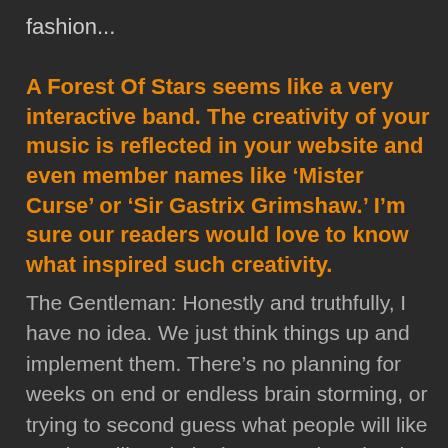fashion...
A Forest Of Stars seems like a very interactive band. The creativity of your music is reflected in your website and even member names like ‘Mister Curse’ or ‘Sir Gastrix Grimshaw.’ I’m sure our readers would love to know what inspired such creativity.
The Gentleman: Honestly and truthfully, I have no idea. We just think things up and implement them. There’s no planning for weeks on end or endless brain storming, or trying to second guess what people will like or what will work the best – we just do what we think would be fun and